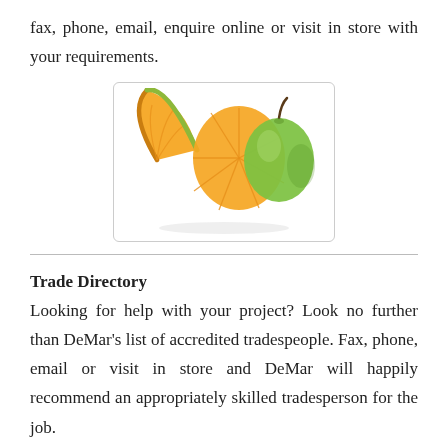fax, phone, email, enquire online or visit in store with your requirements.
[Figure (photo): Photo of a green apple and orange citrus fruit slices on a white background]
Trade Directory
Looking for help with your project? Look no further than DeMar's list of accredited tradespeople. Fax, phone, email or visit in store and DeMar will happily recommend an appropriately skilled tradesperson for the job.
If there is something which interests you but is not available on our website, feel free to drop us an email because we